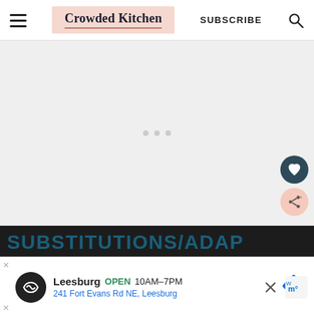Crowded Kitchen | SUBSCRIBE
[Figure (other): Large light gray placeholder content area with three small dots indicating a slideshow, a dark teal heart favorites button, and a pink share button overlaid on the right side]
SUBSTITUTIONS/ADAP
[Figure (other): Advertisement bar for Leesburg store: black circular logo with infinity symbol, text 'Leesburg OPEN 10AM-7PM', address '241 Fort Evans Rd NE, Leesburg', blue navigation arrow diamond icon, X close button, and Walmart+ logo on right]